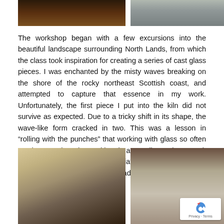[Figure (photo): Top left photo showing dark workshop interior with warm brown tones]
[Figure (photo): Top right photo showing framed glass artworks or display items]
The workshop began with a few excursions into the beautiful landscape surrounding North Lands, from which the class took inspiration for creating a series of cast glass pieces. I was enchanted by the misty waves breaking on the shore of the rocky northeast Scottish coast, and attempted to capture that essence in my work. Unfortunately, the first piece I put into the kiln did not survive as expected. Due to a tricky shift in its shape, the wave-like form cracked in two. This was a lesson in “rolling with the punches” that working with glass so often teaches. Rather than taking it as a disappointment, it became an opportunity to appreciate the added dimension in the piece given by the way it had fractured.
[Figure (photo): Bottom left photo showing pencil sketches of wave-like forms and designs on paper]
[Figure (photo): Bottom right photo showing cast glass mold pieces in grey/stone material arranged on a wooden surface, with reCAPTCHA privacy overlay in corner]